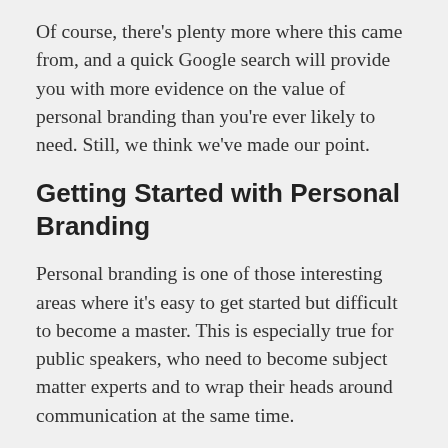Of course, there's plenty more where this came from, and a quick Google search will provide you with more evidence on the value of personal branding than you're ever likely to need. Still, we think we've made our point.
Getting Started with Personal Branding
Personal branding is one of those interesting areas where it's easy to get started but difficult to become a master. This is especially true for public speakers, who need to become subject matter experts and to wrap their heads around communication at the same time.
One of the easiest ways to get started is to use social networking sites to get your message out. LinkedIn is an obvious choice as it's the world's leading business networking site and a great way to build your personal brand.